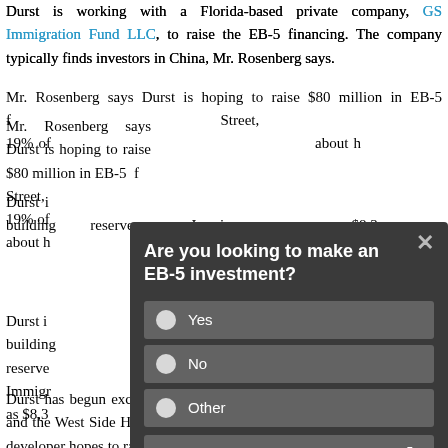Durst is working with a Florida-based private company, GS Immigration Fund LLC, to raise the EB-5 financing. The company typically finds investors in China, Mr. Rosenberg says.
Mr. Rosenberg says Durst is hoping to raise $80 million in EB-5 financing for the building on 57th Street, which would represent about 19% of the total cost. He declined to give details about how the tower will be financed.
Durst is also in discussions with GS Immigration Fund for the second building. The reserves held by GS Immigration Fund total as $8,3...
[Figure (other): A modal dialog overlay asking 'Are you looking to make an EB-5 investment?' with three radio button options: Yes, No, Other, and a Send button with a right arrow.]
Durst has begun excavation work on the other building, on 57th Street and the West Side Highway, and plans to start raising money soon. The developer hopes to raise $180 million in EB-5 financing for that project.